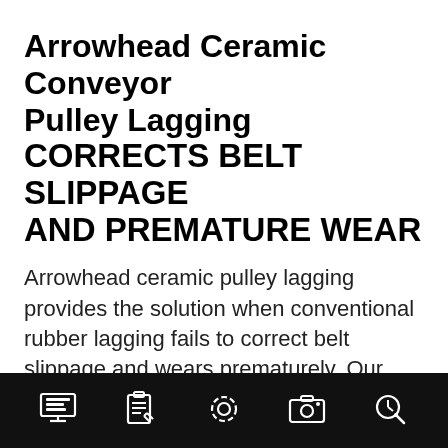Arrowhead Ceramic Conveyor Pulley Lagging
CORRECTS BELT SLIPPAGE AND PREMATURE WEAR
Arrowhead ceramic pulley lagging provides the solution when conventional rubber lagging fails to correct belt slippage and wears prematurely. Our unique Arrowhead ceramic is designed for the highest drive factors unlike the conventional square tiles.
[Figure (infographic): Black footer bar with five white icon symbols: a computer monitor with list, a clipboard with pencil, a gear/settings, a camera, and a clock with magnifier.]